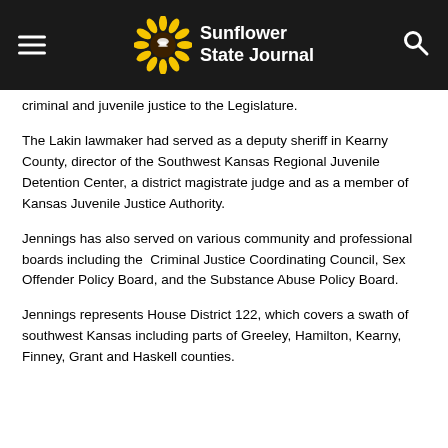Sunflower State Journal
criminal and juvenile justice to the Legislature.
The Lakin lawmaker had served as a deputy sheriff in Kearny County, director of the Southwest Kansas Regional Juvenile Detention Center, a district magistrate judge and as a member of Kansas Juvenile Justice Authority.
Jennings has also served on various community and professional boards including the Criminal Justice Coordinating Council, Sex Offender Policy Board, and the Substance Abuse Policy Board.
Jennings represents House District 122, which covers a swath of southwest Kansas including parts of Greeley, Hamilton, Kearny, Finney, Grant and Haskell counties.